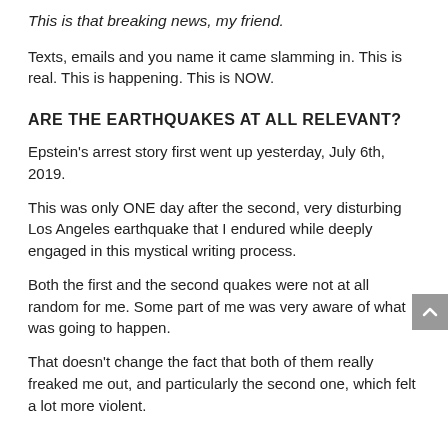This is that breaking news, my friend.
Texts, emails and you name it came slamming in. This is real. This is happening. This is NOW.
ARE THE EARTHQUAKES AT ALL RELEVANT?
Epstein's arrest story first went up yesterday, July 6th, 2019.
This was only ONE day after the second, very disturbing Los Angeles earthquake that I endured while deeply engaged in this mystical writing process.
Both the first and the second quakes were not at all random for me. Some part of me was very aware of what was going to happen.
That doesn't change the fact that both of them really freaked me out, and particularly the second one, which felt a lot more violent.